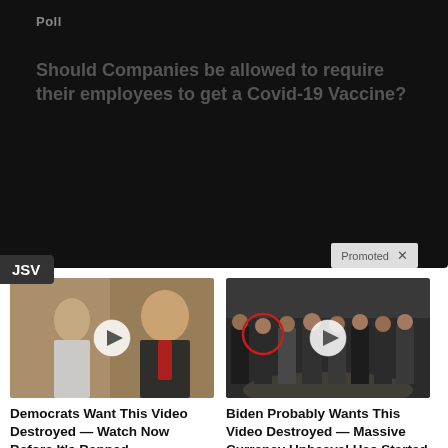Poll
Should Companies be allowed to require their employees to get a Covid-19 Vaccine?
JSV
Promoted ×
[Figure (photo): Photo of Melania and Donald Trump with a video play button overlay]
Democrats Want This Video Destroyed — Watch Now Before It's Banned
🔥 222,311
[Figure (photo): Photo of a group of men standing in a formal setting (appears to be CIA headquarters) with a video play button overlay and a red circle highlighting one person]
Biden Probably Wants This Video Destroyed — Massive Currency Upheaval Has Started
🔥 208,364